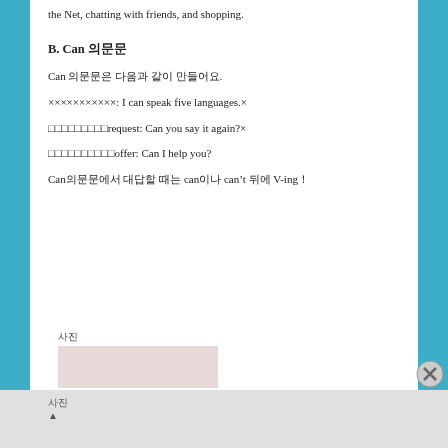the Net, chatting with friends, and shopping.
B. Can 의문문
Can 의문문은 다음과 같이 만들어요.
✗✗✗✗✗✗✗✗✗✗✗: I can speak five languages.✗
✗✗✗✗✗✗✗✗✗request: Can you say it again?✗
✗✗✗✗✗✗✗✗✗✗offer: Can I help you?
Can의문문에서 대답할 때는 can이나 can't 뒤에 V-ing!
[Figure (photo): Small image with label above and below]
사진